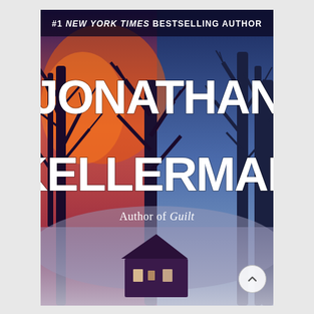[Figure (illustration): Book cover for a Jonathan Kellerman novel. Background shows a moody twilight scene with bare trees silhouetted against a warm orange-red sky on the left and a cold blue-gray sky on the right, with a house dimly visible in the foggy lower center. At the top in small white text: '#1 NEW YORK TIMES BESTSELLING AUTHOR'. Large bold white text reads 'JONATHAN KELLERMAN'. Below the author name in smaller italic serif text: 'Author of Guilt'.]